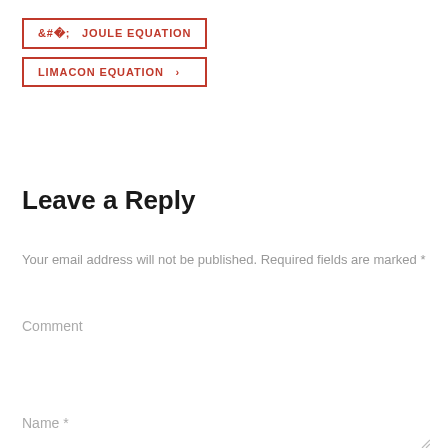‹  JOULE EQUATION
LIMACON EQUATION  ›
Leave a Reply
Your email address will not be published. Required fields are marked *
Comment
Name *